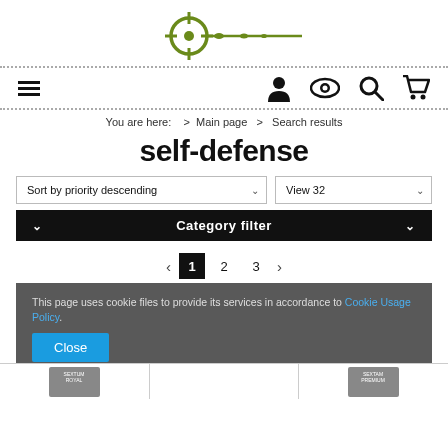[Figure (logo): Website logo: crosshair/target sight icon in olive green with horizontal line extending right]
[Figure (infographic): Navigation bar with hamburger menu icon, user icon, eye icon, search icon, and cart icon]
You are here:  >  Main page  >  Search results
self-defense
Sort by priority descending
View 32
Category filter
1  2  3
This page uses cookie files to provide its services in accordance to Cookie Usage Policy.
Close